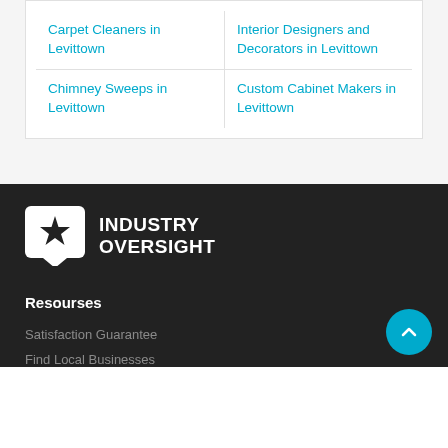Carpet Cleaners in Levittown
Interior Designers and Decorators in Levittown
Chimney Sweeps in Levittown
Custom Cabinet Makers in Levittown
[Figure (logo): Industry Oversight logo: white speech bubble with star icon, bold white text reading INDUSTRY OVERSIGHT]
Resourses
Satisfaction Guarantee
Find Local Businesses